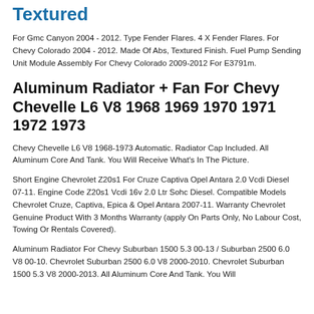Textured
For Gmc Canyon 2004 - 2012. Type Fender Flares. 4 X Fender Flares. For Chevy Colorado 2004 - 2012. Made Of Abs, Textured Finish. Fuel Pump Sending Unit Module Assembly For Chevy Colorado 2009-2012 For E3791m.
Aluminum Radiator + Fan For Chevy Chevelle L6 V8 1968 1969 1970 1971 1972 1973
Chevy Chevelle L6 V8 1968-1973 Automatic. Radiator Cap Included. All Aluminum Core And Tank. You Will Receive What's In The Picture.
Short Engine Chevrolet Z20s1 For Cruze Captiva Opel Antara 2.0 Vcdi Diesel 07-11. Engine Code Z20s1 Vcdi 16v 2.0 Ltr Sohc Diesel. Compatible Models Chevrolet Cruze, Captiva, Epica & Opel Antara 2007-11. Warranty Chevrolet Genuine Product With 3 Months Warranty (apply On Parts Only, No Labour Cost, Towing Or Rentals Covered).
Aluminum Radiator For Chevy Suburban 1500 5.3 00-13 / Suburban 2500 6.0 V8 00-10. Chevrolet Suburban 2500 6.0 V8 2000-2010. Chevrolet Suburban 1500 5.3 V8 2000-2013. All Aluminum Core And Tank. You Will